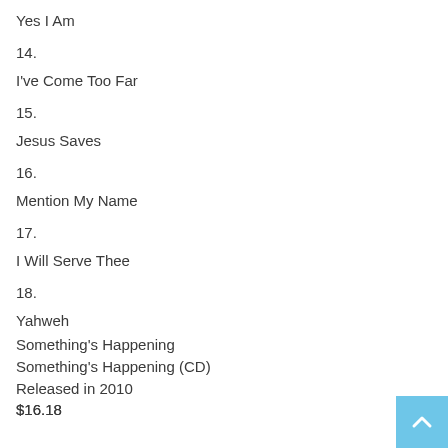Yes I Am
14.
I've Come Too Far
15.
Jesus Saves
16.
Mention My Name
17.
I Will Serve Thee
18.
Yahweh
Something's Happening
Something's Happening (CD)
Released in 2010
$16.18
List Price: $17.98
Add to Cart